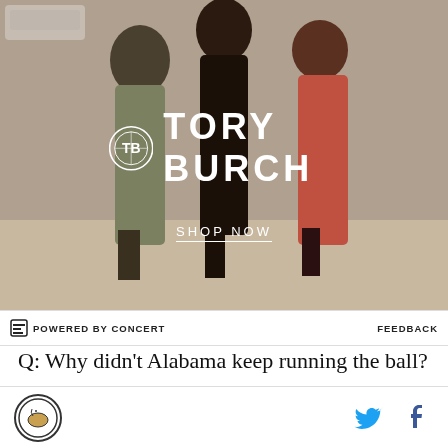[Figure (photo): Tory Burch advertisement banner showing three people in long dresses/skirts walking, with the Tory Burch logo and 'SHOP NOW' text overlaid]
POWERED BY CONCERT   FEEDBACK
Q: Why didn't Alabama keep running the ball?
A: Good question. Just like last week in Baton Rouge, I thought Alabama put too much on McCarron. Now I'm a firm believer that McCarron is the best QB we've seen all season. But Alabama was dominating us at the line of scrimmage and wearing us down. Huge
[Figure (logo): Site logo circle (bird icon) and Twitter/Facebook social icons in the footer bar]